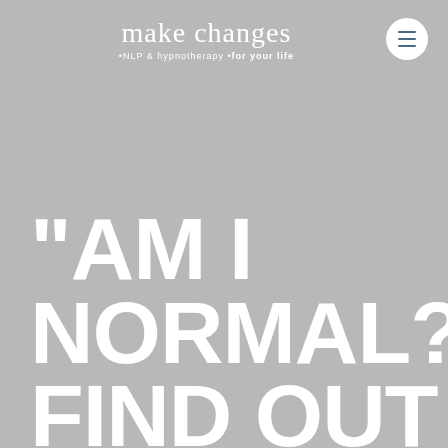[Figure (logo): Make Changes logo - cursive text 'make changes' with subtitle '•NLP & hypnotherapy •for your life' on grey background]
[Figure (other): Hamburger menu button - three horizontal lines in a white circle, positioned top right]
“AM I NORMAL?” FIND OUT